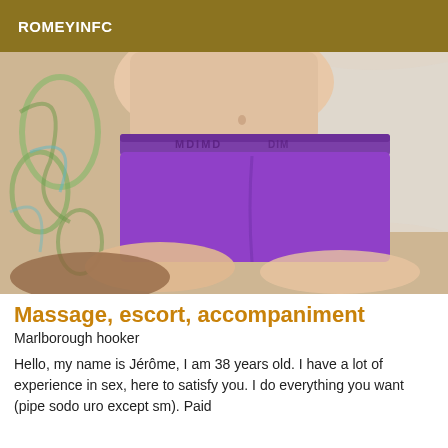ROMEYINFC
[Figure (photo): Photo of a person wearing purple boxer briefs with MDIMD waistband, lying on a patterned fabric background]
Massage, escort, accompaniment
Marlborough hooker
Hello, my name is Jérôme, I am 38 years old. I have a lot of experience in sex, here to satisfy you. I do everything you want (pipe sodo uro except sm). Paid